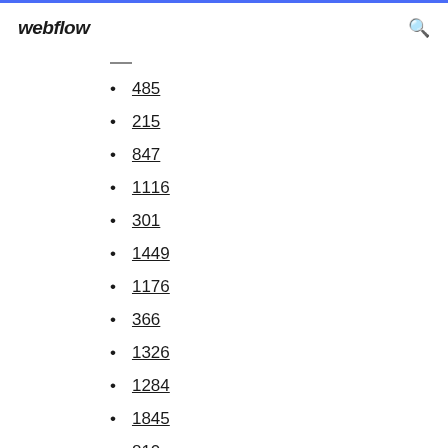webflow
485
215
847
1116
301
1449
1176
366
1326
1284
1845
810